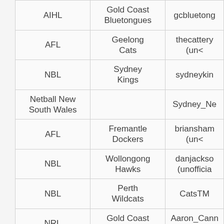| League | Team | Account |
| --- | --- | --- |
| AIHL | Gold Coast Bluetongues | gcbluetong… |
| AFL | Geelong Cats | thecattery (uno… |
| NBL | Sydney Kings | sydneykin… |
| Netball New South Wales |  | Sydney_Ne… |
| AFL | Fremantle Dockers | briansham (uno… |
| NBL | Wollongong Hawks | danjackso… (unofficia… |
| NBL | Perth Wildcats | CatsTM… |
| NRL | Gold Coast Titans | Aaron_Cann… (unofficia… |
| AIS | New South Wales Institute of… | theNSWIS (o… |